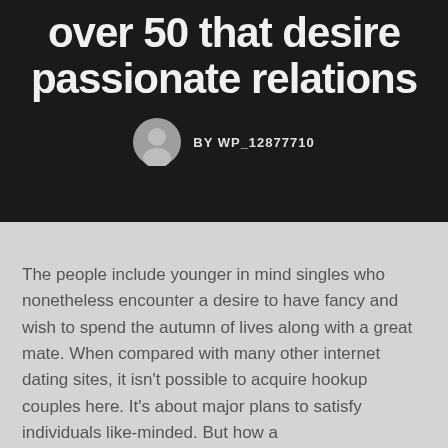over 50 that desire passionate relations
BY WP_12877710
The people include younger in mind singles who nonetheless encounter a desire to have fancy and wish to spend the autumn of lives along with a great mate. When compared with many other internet dating sites, it isn't possible to acquire hookup couples here. It's about major plans to satisfy individuals like-minded. But how a